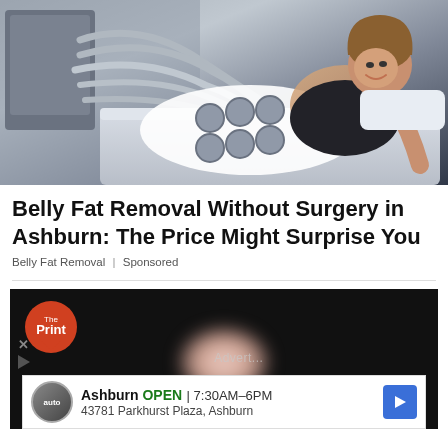[Figure (photo): A woman lying on a medical/cosmetic treatment bed, smiling, with multiple applicator hoses/tubes of a body contouring machine attached around her midsection area. Medical equipment visible in background.]
Belly Fat Removal Without Surgery in Ashburn: The Price Might Surprise You
Belly Fat Removal | Sponsored
[Figure (screenshot): Video player with The Print logo in top-left corner (orange circle with white text), dark background, blurred skin-tone image in center, 'Advertisement' text overlay, and a Google Maps style ad banner at bottom showing: Ashburn OPEN 7:30AM-6PM, 43781 Parkhurst Plaza, Ashburn, with auto service logo and blue arrow button. Play button and X button on left side.]